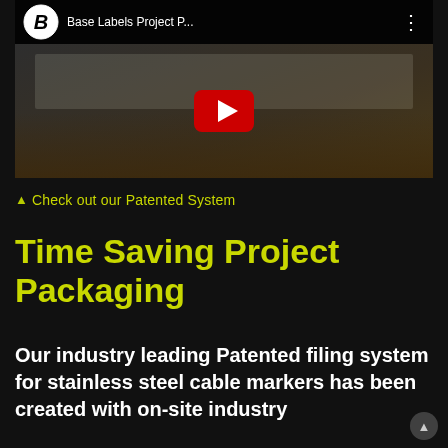[Figure (screenshot): YouTube video thumbnail showing 'Base Labels Project P...' with a play button. The video appears to show hands working with a binder or filing system. The thumbnail has the Base Labels logo (B in circle) in the top left, the video title, a three-dot menu icon, and a red YouTube play button in the center.]
▲ Check out our Patented System
Time Saving Project Packaging
Our industry leading Patented filing system for stainless steel cable markers has been created with on-site industry